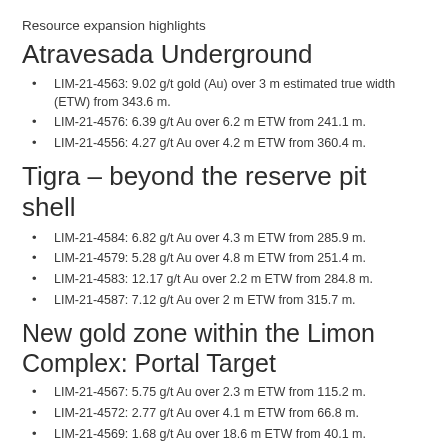Resource expansion highlights
Atravesada Underground
LIM-21-4563: 9.02 g/t gold (Au) over 3 m estimated true width (ETW) from 343.6 m.
LIM-21-4576: 6.39 g/t Au over 6.2 m ETW from 241.1 m.
LIM-21-4556: 4.27 g/t Au over 4.2 m ETW from 360.4 m.
Tigra – beyond the reserve pit shell
LIM-21-4584: 6.82 g/t Au over 4.3 m ETW from 285.9 m.
LIM-21-4579: 5.28 g/t Au over 4.8 m ETW from 251.4 m.
LIM-21-4583: 12.17 g/t Au over 2.2 m ETW from 284.8 m.
LIM-21-4587: 7.12 g/t Au over 2 m ETW from 315.7 m.
New gold zone within the Limon Complex: Portal Target
LIM-21-4567: 5.75 g/t Au over 2.3 m ETW from 115.2 m.
LIM-21-4572: 2.77 g/t Au over 4.1 m ETW from 66.8 m.
LIM-21-4569: 1.68 g/t Au over 18.6 m ETW from 40.1 m.